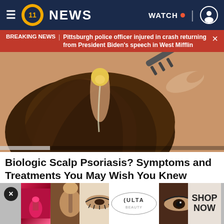≡  11 NEWS  WATCH  [user icon]
BREAKING NEWS | Pittsburgh police officer injured in crash returning from President Biden's speech in West Mifflin
[Figure (illustration): Illustration of scalp psoriasis treatment – person's head with brown hair being treated, liquid being applied to scalp with comb-like tool, yellow circular container visible at top]
Biologic Scalp Psoriasis? Symptoms and Treatments You May Wish You Knew Sooner
Scalp Psoriasis | Search Ads | Sponsored
[Figure (photo): Ulta Beauty advertisement banner showing makeup product photos – lipstick, brushes, eye makeup, Ulta Beauty logo, with SHOP NOW text on right]